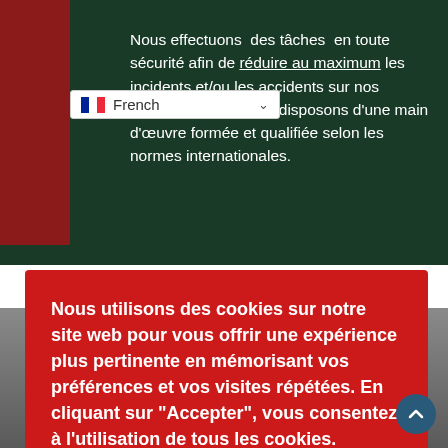Nous effectuons des tâches en toute sécurité afin de réduire au maximum les incidents et/ou les accidents sur nos différents sites. Nous disposons d'une main d'œuvre formée et qualifiée selon les normes internationales.
[Figure (screenshot): French language selector dropdown showing flag icon and 'French' label with dropdown arrow]
Nous utilisons des cookies sur notre site web pour vous offrir une expérience plus pertinente en mémorisant vos préférences et vos visites répétées. En cliquant sur "Accepter", vous consentez à l'utilisation de tous les cookies.
Cookie settings   ACCEPT
developpement durable.."
[Figure (illustration): Person silhouette/avatar at bottom of page]